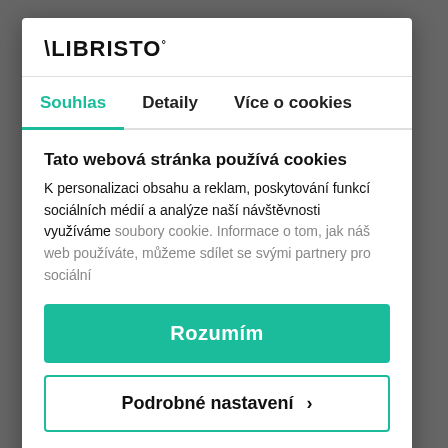LIBRISTO
Souhlas	Detaily	Více o cookies
Tato webová stránka používá cookies
K personalizaci obsahu a reklam, poskytování funkcí sociálních médií a analýze naší návštěvnosti využíváme soubory cookie. Informace o tom, jak náš web používáte, můžeme sdílet se svými partnery pro sociální
Rozumím
Podrobné nastavení ›
Powered by Cookiebot by Usercentrics